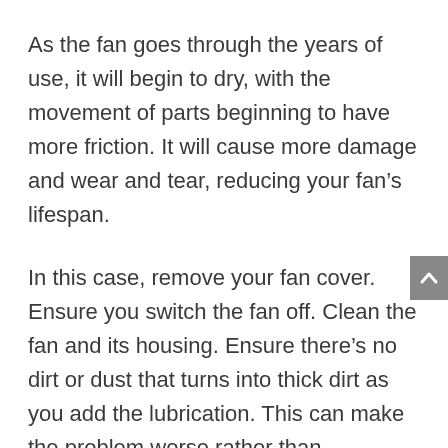As the fan goes through the years of use, it will begin to dry, with the movement of parts beginning to have more friction. It will cause more damage and wear and tear, reducing your fan’s lifespan.
In this case, remove your fan cover. Ensure you switch the fan off. Clean the fan and its housing. Ensure there’s no dirt or dust that turns into thick dirt as you add the lubrication. This can make the problem worse rather than improving it.
Lubricate the bottom of the blades with a lubricant. The most recommended by handymen